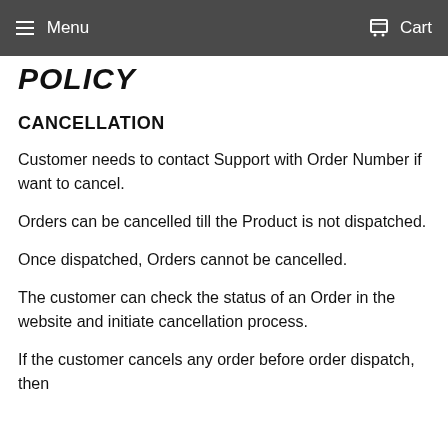Menu   Cart
POLICY
CANCELLATION
Customer needs to contact Support with Order Number if want to cancel.
Orders can be cancelled till the Product is not dispatched.
Once dispatched, Orders cannot be cancelled.
The customer can check the status of an Order in the website and initiate cancellation process.
If the customer cancels any order before order dispatch, then